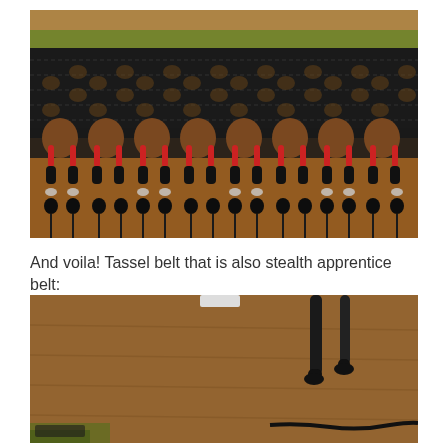[Figure (photo): Close-up photo of a black macrame/knotted tassel belt with red and white accent cords, laid flat showing the knotted mesh body at top and hanging tassels with decorative knots along the bottom edge, on a wooden surface with olive green fabric at top.]
And voila! Tassel belt that is also stealth apprentice belt:
[Figure (photo): Photo showing the tassel belt laid on a wooden floor near a black office chair leg and a cable/cord, partially cut off at bottom of frame.]